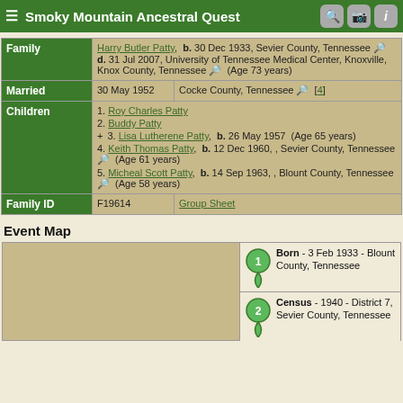Smoky Mountain Ancestral Quest
| Label | Data |
| --- | --- |
| Family | Harry Butler Patty, b. 30 Dec 1933, Sevier County, Tennessee, d. 31 Jul 2007, University of Tennessee Medical Center, Knoxville, Knox County, Tennessee (Age 73 years) |
| Married | 30 May 1952 | Cocke County, Tennessee [4] |
| Children | 1. Roy Charles Patty
2. Buddy Patty
+ 3. Lisa Lutherene Patty, b. 26 May 1957 (Age 65 years)
4. Keith Thomas Patty, b. 12 Dec 1960, , Sevier County, Tennessee (Age 61 years)
5. Micheal Scott Patty, b. 14 Sep 1963, , Blount County, Tennessee (Age 58 years) |
| Family ID | F19614 | Group Sheet |
Event Map
[Figure (map): Event map showing genealogy locations with two legend pins: 1. Born - 3 Feb 1933 - Blount County, Tennessee; 2. Census - 1940 - District 7, Sevier County, Tennessee]